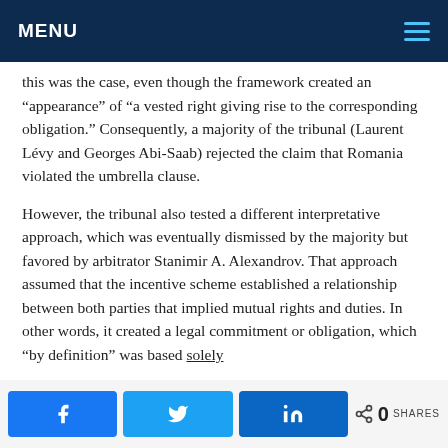MENU
this was the case, even though the framework created an “appearance” of “a vested right giving rise to the corresponding obligation.” Consequently, a majority of the tribunal (Laurent Lévy and Georges Abi-Saab) rejected the claim that Romania violated the umbrella clause.
However, the tribunal also tested a different interpretative approach, which was eventually dismissed by the majority but favored by arbitrator Stanimir A. Alexandrov. That approach assumed that the incentive scheme established a relationship between both parties that implied mutual rights and duties. In other words, it created a legal commitment or obligation, which “by definition” was based solely
0 SHARES